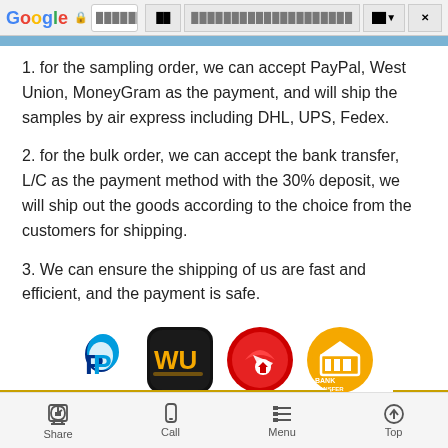Google browser navigation bar
1. for the sampling order, we can accept PayPal, West Union, MoneyGram as the payment, and will ship the samples by air express including DHL, UPS, Fedex.
2. for the bulk order, we can accept the bank transfer, L/C as the payment method with the 30% deposit, we will ship out the goods according to the choice from the customers for shipping.
3. We can ensure the shipping of us are fast and efficient, and the payment is safe.
[Figure (logo): Payment method logos: PayPal, Western Union, MoneyGram, Bank Transfer]
[Figure (illustration): Airplane flying over globe illustration]
Share | Call | Menu | Top